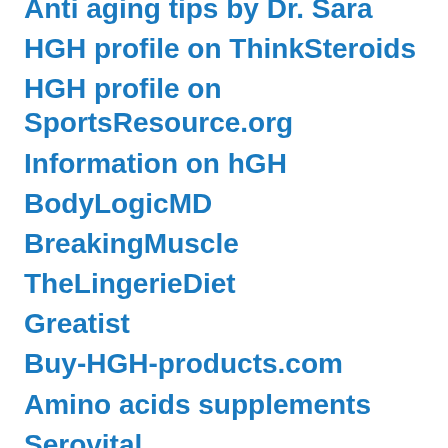Anti aging tips by Dr. Sara
HGH profile on ThinkSteroids
HGH profile on SportsResource.org
Information on hGH
BodyLogicMD
BreakingMuscle
TheLingerieDiet
Greatist
Buy-HGH-products.com
Amino acids supplements
Serovital